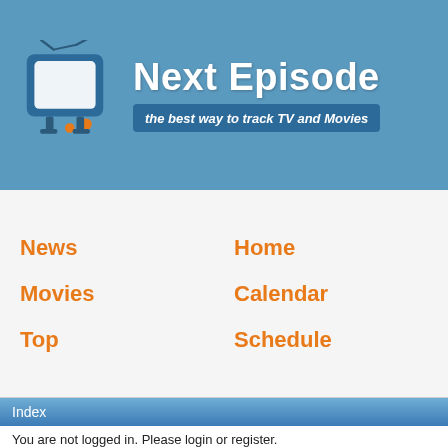[Figure (logo): Next Episode website logo with a cartoon TV icon and tagline 'the best way to track TV and Movies']
News
Home
Movies
Calendar
Top
Schedule
Index
You are not logged in. Please login or register.
Active topics   Unanswered topics
Forums - Next Episode → V → 1x10
Pages  1
You must login or register to post a reply
RSS topic feed
Posts: 21